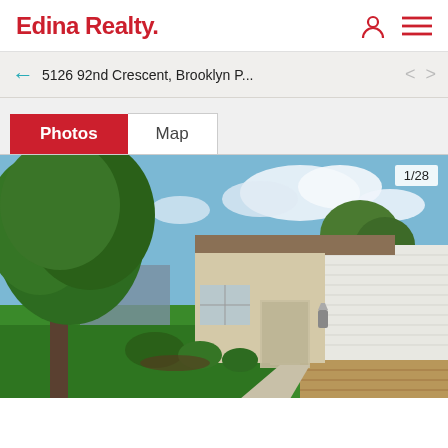Edina Realty.
5126 92nd Crescent, Brooklyn P...
Photos | Map
[Figure (photo): Exterior photo of a single-story ranch home with white vinyl siding, a covered entry, brick accents, a concrete walkway, large shade tree, and well-manicured green lawn. Photo counter shows 1/28.]